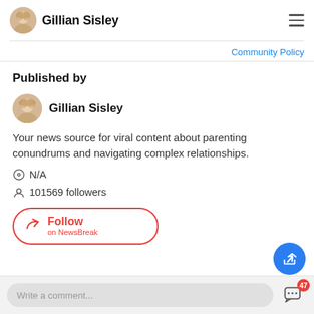Gillian Sisley
Community Policy
Published by
Gillian Sisley
Your news source for viral content about parenting conundrums and navigating complex relationships.
N/A
101569 followers
Follow on NewsBreak
Write a comment...
47